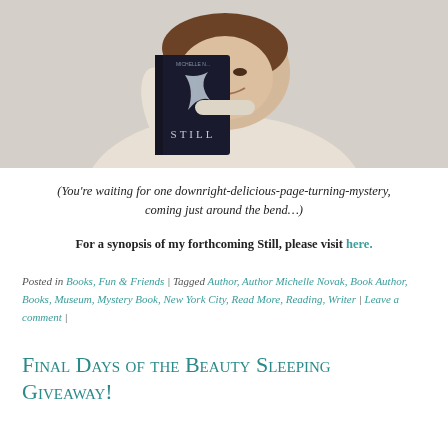[Figure (photo): Woman smiling and holding up a dark book titled 'STILL' by Michelle Novak, wearing a light turtleneck sweater, selfie-style photo]
(You're waiting for one downright-delicious-page-turning-mystery, coming just around the bend…)
For a synopsis of my forthcoming Still, please visit here.
Posted in Books, Fun & Friends | Tagged Author, Author Michelle Novak, Book Author, Books, Museum, Mystery Book, New York City, Read More, Reading, Writer | Leave a comment |
Final Days of the Beauty Sleeping Giveaway!